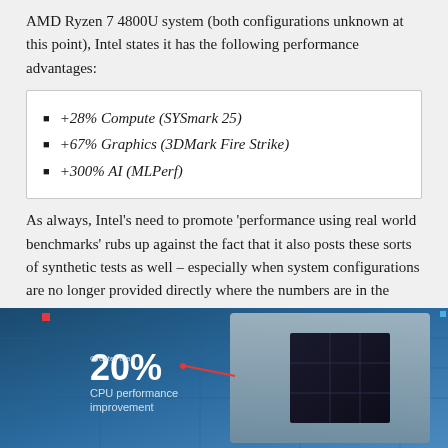AMD Ryzen 7 4800U system (both configurations unknown at this point), Intel states it has the following performance advantages:
+28% Compute (SYSmark 25)
+67% Graphics (3DMark Fire Strike)
+300% AI (MLPerf)
As always, Intel's need to promote 'performance using real world benchmarks' rubs up against the fact that it also posts these sorts of synthetic tests as well – especially when system configurations are no longer provided directly where the numbers are in the presentation. Intel does have 'real world benchmarks', directly in the next slide, but for slide #4 in a day of announcements, offering synthetics – especially ones that are known to favor Intel – is a bit frustrating. Surely an aggregate number of those real-world tests would be a better starting point for any presentation.
[Figure (photo): Intel processor chip slide showing '20% CPU performance improvement' with a chip die visible on a blue circuit board background]